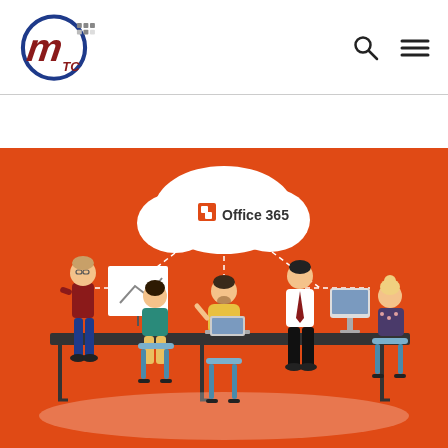[Figure (logo): MTC company logo with circular design and stylized letter M with red slash, blue circle, and grey dots, accompanied by 'TC' text]
[Figure (illustration): Office 365 promotional illustration on orange background showing 5 people working around a table with laptops, a presentation board, and a desktop computer. A white cloud with Office 365 logo floats above connected by dashed lines.]